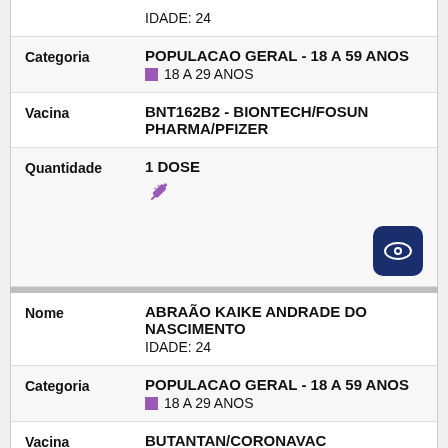| Field | Value |
| --- | --- |
|  | IDADE: 24 |
| Categoria | POPULACAO GERAL - 18 A 59 ANOS
18 A 29 ANOS |
| Vacina | BNT162B2 - BIONTECH/FOSUN PHARMA/PFIZER |
| Quantidade | 1 DOSE |
| Field | Value |
| --- | --- |
| Nome | ABRAÃO KAIKE ANDRADE DO NASCIMENTO
IDADE: 24 |
| Categoria | POPULACAO GERAL - 18 A 59 ANOS
18 A 29 ANOS |
| Vacina | BUTANTAN/CORONAVAC |
| Quantidade | 2 DOSES |